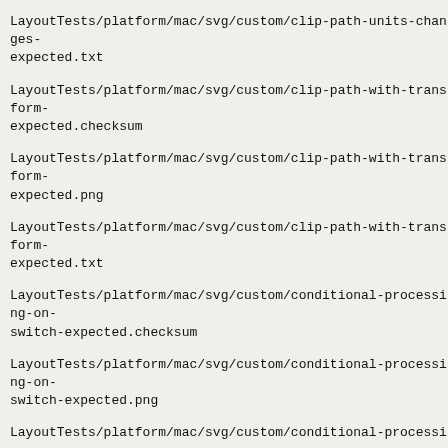LayoutTests/platform/mac/svg/custom/clip-path-units-changes-expected.txt
LayoutTests/platform/mac/svg/custom/clip-path-with-transform-expected.checksum
LayoutTests/platform/mac/svg/custom/clip-path-with-transform-expected.png
LayoutTests/platform/mac/svg/custom/clip-path-with-transform-expected.txt
LayoutTests/platform/mac/svg/custom/conditional-processing-on-switch-expected.checksum
LayoutTests/platform/mac/svg/custom/conditional-processing-on-switch-expected.png
LayoutTests/platform/mac/svg/custom/conditional-processing-on-switch-expected.txt
LayoutTests/platform/mac/svg/custom/control-points-for-S-and-s-expected.checksum
LayoutTests/platform/mac/svg/custom/control-points-for-S-and-s-expected.png
LayoutTests/platform/mac/svg/custom/control-points-for-S-and-s-expected.txt